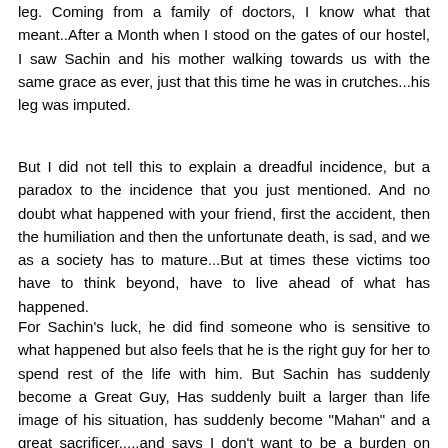leg. Coming from a family of doctors, I know what that meant..After a Month when I stood on the gates of our hostel, I saw Sachin and his mother walking towards us with the same grace as ever, just that this time he was in crutches...his leg was imputed.
But I did not tell this to explain a dreadful incidence, but a paradox to the incidence that you just mentioned. And no doubt what happened with your friend, first the accident, then the humiliation and then the unfortunate death, is sad, and we as a society has to mature...But at times these victims too have to think beyond, have to live ahead of what has happened.
For Sachin's luck, he did find someone who is sensitive to what happened but also feels that he is the right guy for her to spend rest of the life with him. But Sachin has suddenly become a Great Guy, Has suddenly built a larger than life image of his situation, has suddenly become "Mahan" and a great sacrificer.....and says I don't want to be a burden on someone....great thought.....good for him and he certainly is not depended, has just passed the Maharastra Public Service Exam and hopefully will have a